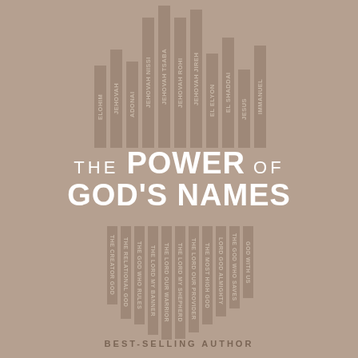[Figure (other): Book cover for 'The Power of God's Names' by a best-selling author, featuring vertical bar-shaped labels with names of God in Hebrew and English arranged in two groups above and below the main title, on a brown/taupe background.]
THE POWER OF GOD'S NAMES
BEST-SELLING AUTHOR